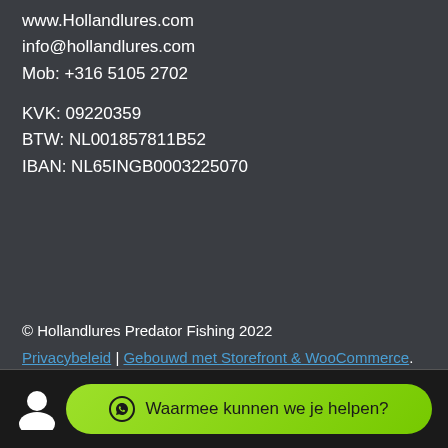www.Hollandlures.com
info@hollandlures.com
Mob: +316 5105 2702
KVK: 09220359
BTW: NL001857811B52
IBAN: NL65INGB0003225070
© Hollandlures Predator Fishing 2022
Privacybeleid | Gebouwd met Storefront & WooCommerce.
Waarmee kunnen we je helpen?